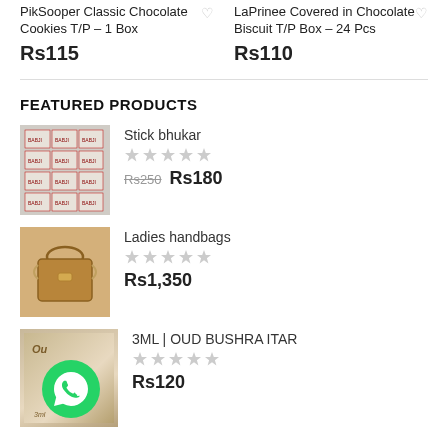PikSooper Classic Chocolate Cookies T/P – 1 Box
Rs115
LaPrinee Covered in Chocolate Biscuit T/P Box – 24 Pcs
Rs110
FEATURED PRODUCTS
Stick bhukar
Rs250  Rs180
Ladies handbags
Rs1,350
3ML | OUD BUSHRA ITAR
Rs120